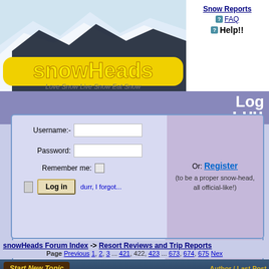[Figure (logo): snowHeads logo with mountain background, yellow text 'snowHeads', tagline 'Love Snow Live Snow Eat Snow']
Snow Reports
FAQ
Help!!
Log
Username:-
Password:
Remember me:
Log in   durr, I forgot...
Or:  Register
(to be a proper snow-head, all official-like!)
snowHeads Forum Index -> Resort Reviews and Trip Reports
Page Previous 1, 2, 3 ... 421, 422, 423 ... 673, 674, 675 Nex
Start New Topic
Author / Last Post
Resort / Trip Reports - Alphabetical index
Page: 1.... 4, 5, 6
snowHead / 25,Apr,20 13:24
Manchester Airport - T2
snowHead / 09,Feb,10 09:12
Obergurgl - piste advice please
snowHead / 09,Feb,10 08:55
Pitlochry Peregrinations
snowHead / 09,Feb,10 00:05